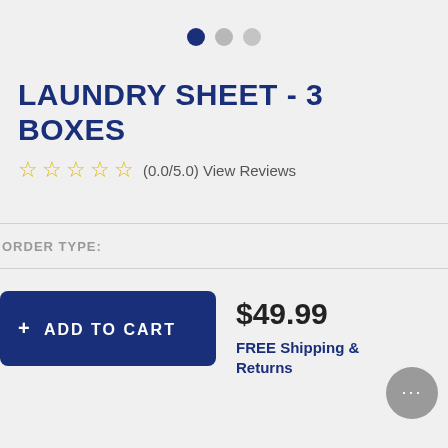[Figure (other): Navigation dots: one filled navy blue circle (active) followed by two lighter grey circles]
LAUNDRY SHEET - 3 BOXES
☆☆☆☆☆ (0.0/5.0) View Reviews
ORDER TYPE:
+ ADD TO CART
$49.99
FREE Shipping & Returns